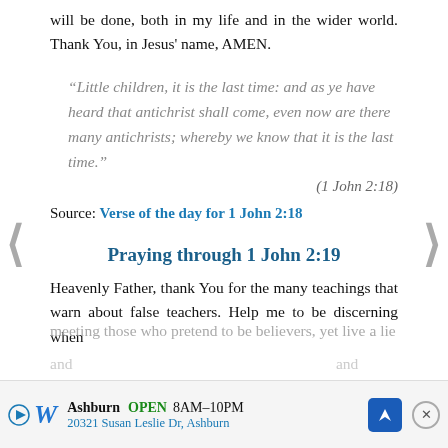will be done, both in my life and in the wider world. Thank You, in Jesus' name, AMEN.
“Little children, it is the last time: and as ye have heard that antichrist shall come, even now are there many antichrists; whereby we know that it is the last time.”
(1 John 2:18)
Source: Verse of the day for 1 John 2:18
Praying through 1 John 2:19
Heavenly Father, thank You for the many teachings that warn about false teachers. Help me to be discerning when meeting those who pretend to be believers, yet live a lie and ... and help ... and